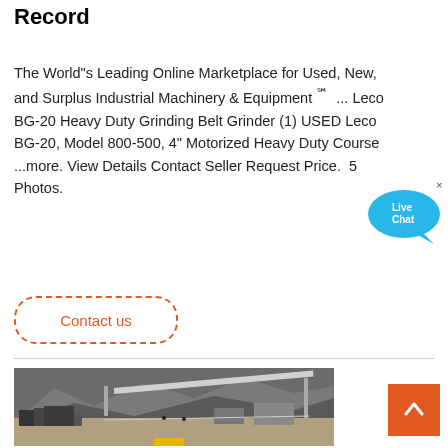Record
The World"s Leading Online Marketplace for Used, New, and Surplus Industrial Machinery & Equipment ℠ ... Leco BG-20 Heavy Duty Grinding Belt Grinder (1) USED Leco BG-20, Model 800-500, 4" Motorized Heavy Duty Course ...more. View Details Contact Seller Request Price. 5 Photos.
Contact us
[Figure (photo): Aerial view of an industrial mining or quarrying site with heavy machinery and conveyor belts set against rocky hills]